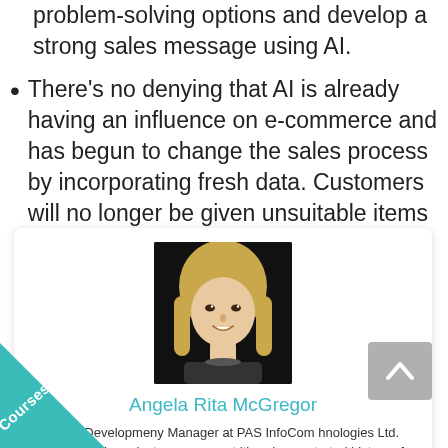problem-solving options and develop a strong sales message using AI.
There's no denying that AI is already having an influence on e-commerce and has begun to change the sales process by incorporating fresh data. Customers will no longer be given unsuitable items and services as a result of the adjustments.
[Figure (photo): Headshot photo of Angela Rita McGregor, a blonde woman smiling, against a dark background]
Angela Rita McGregor
Business Developmeny Manager at PAS InfoCom hnologies Ltd.  Experienced in project management ith a demonstrated history of working in the